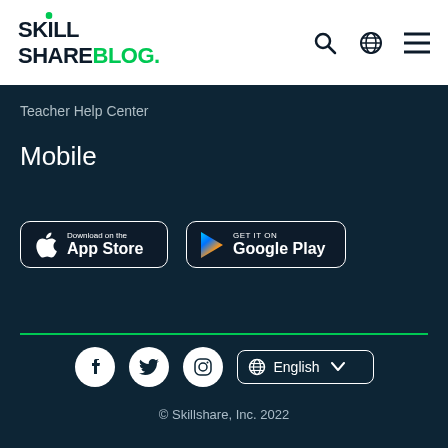Skill Share Blog.
Teacher Help Center
Mobile
[Figure (screenshot): Download on the App Store button]
[Figure (screenshot): Get it on Google Play button]
[Figure (infographic): Social media icons: Facebook, Twitter, Instagram, and English language selector dropdown]
© Skillshare, Inc. 2022